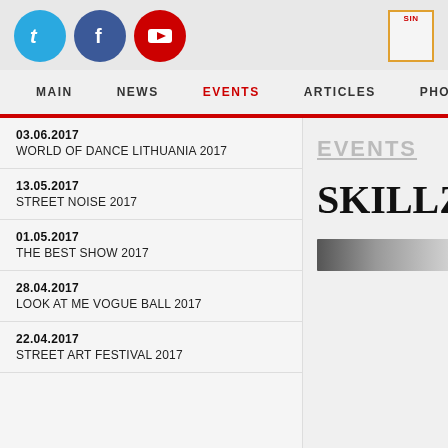[Figure (logo): Social media icons: Twitter (blue circle with t), Facebook (dark blue circle with f), YouTube (red circle with play button)]
MAIN  NEWS  EVENTS  ARTICLES  PHOTOS
03.06.2017
WORLD OF DANCE LITHUANIA 2017
13.05.2017
STREET NOISE 2017
01.05.2017
THE BEST SHOW 2017
28.04.2017
LOOK AT ME VOGUE BALL 2017
22.04.2017
STREET ART FESTIVAL 2017
EVENTS
SKILLZ HA